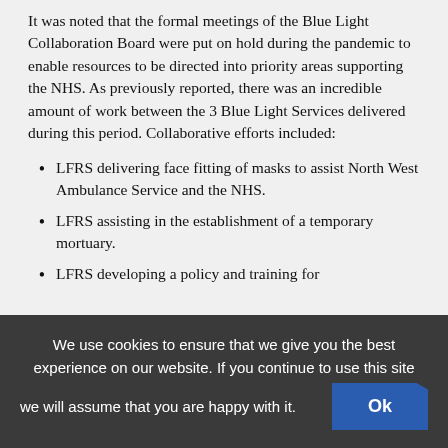It was noted that the formal meetings of the Blue Light Collaboration Board were put on hold during the pandemic to enable resources to be directed into priority areas supporting the NHS. As previously reported, there was an incredible amount of work between the 3 Blue Light Services delivered during this period. Collaborative efforts included:
LFRS delivering face fitting of masks to assist North West Ambulance Service and the NHS.
LFRS assisting in the establishment of a temporary mortuary.
LFRS developing a policy and training for
We use cookies to ensure that we give you the best experience on our website. If you continue to use this site we will assume that you are happy with it.